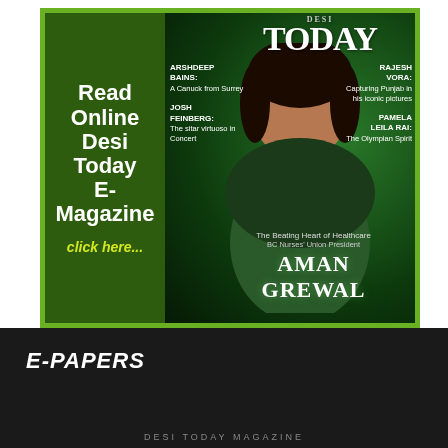[Figure (illustration): Advertisement for Desi Today E-Magazine showing magazine cover with BC Nurses Union President Aman Grewal on a green background. Left panel has text: Read Online Desi Today E-Magazine click here... Right panel shows magazine cover with text: TODAY, ARSHDEEP BAINS: A Canuck from Surrey, RAJESH VORA: Capturing Punjab in his iconic pictures, JOSH FEINBERG: The sitar virtuoso in Concert, PAMELA LEILA RAI: The Olympian Spirit, The Beating Heart of Healthcare BC Nurses' Union President AMAN GREWAL]
E-PAPERS
DESI TODAY MAGAZINE